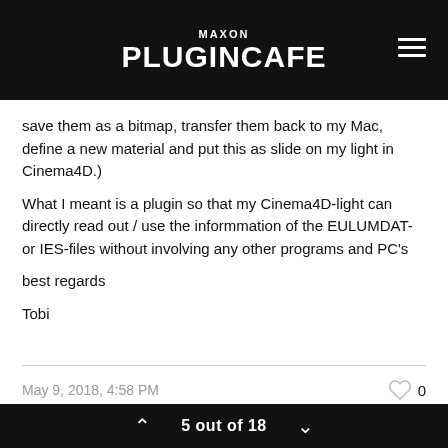MAXON PLUGINCAFE
save them as a bitmap, transfer them back to my Mac, define a new material and put this as slide on my light in Cinema4D.)
What I meant is a plugin so that my Cinema4D-light can directly read out / use the informmation of the EULUMDAT- or IES-files without involving any other programs and PC's

best regards

Tobi
May 9, 2018, 4:58 PM   0
5 out of 18